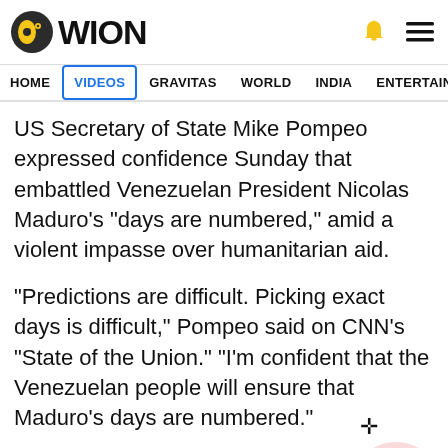[Figure (logo): WION logo with circular icon on left and WION text]
HOME  VIDEOS  GRAVITAS  WORLD  INDIA  ENTERTAINMENT  SPORTS
US Secretary of State Mike Pompeo expressed confidence Sunday that embattled Venezuelan President Nicolas Maduro's "days are numbered," amid a violent impasse over humanitarian aid.
"Predictions are difficult. Picking exact days is difficult," Pompeo said on CNN's "State of the Union." "I'm confident that the Venezuelan people will ensure that Maduro's days are numbered."
Pompeo's remarks came a day after a US-